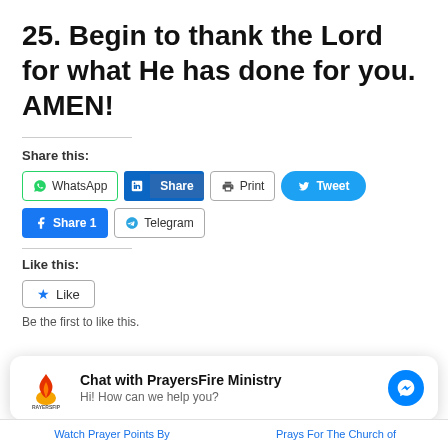25. Begin to thank the Lord for what He has done for you. AMEN!
Share this:
[Figure (screenshot): Social sharing buttons: WhatsApp, LinkedIn Share, Print, Tweet, Facebook Share 1, Telegram]
Like this:
[Figure (screenshot): Like button widget with star icon]
Be the first to like this.
[Figure (screenshot): Chat with PrayersFire Ministry widget with logo and Messenger icon. Subtext: Hi! How can we help you?]
Watch Prayer Points By | Prays For The Church of